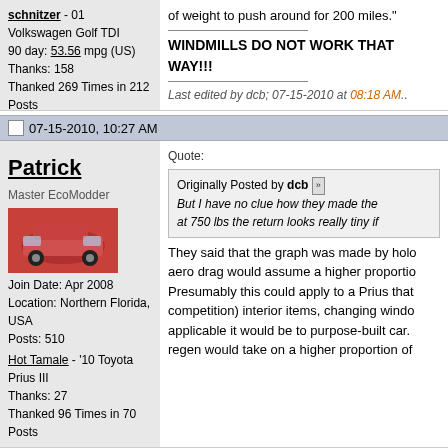schnitzer - 01 Volkswagen Golf TDI
90 day: 53.56 mpg (US)
Thanks: 158
Thanked 269 Times in 212 Posts
of weight to push around for 200 miles."

WINDMILLS DO NOT WORK THAT WAY!!!

Last edited by dcb; 07-15-2010 at 08:18 AM..
07-15-2010, 10:27 AM
Patrick
Master EcoModder
Join Date: Apr 2008
Location: Northern Florida, USA
Posts: 510
Hot Tamale - '10 Toyota Prius III
Thanks: 27
Thanked 96 Times in 70 Posts
Quote:
Originally Posted by dcb
But I have no clue how they made the at 750 lbs the return looks really tiny if

They said that the graph was made by holo aero drag would assume a higher proportio Presumably this could apply to a Prius that competition) interior items, changing windo applicable it would be to purpose-built car. regen would take on a higher proportion of
07-15-2010, 10:49 AM
dcb
needs more cowbell

well it does get a bit complicated down the speeds, where I have to do most of my bra